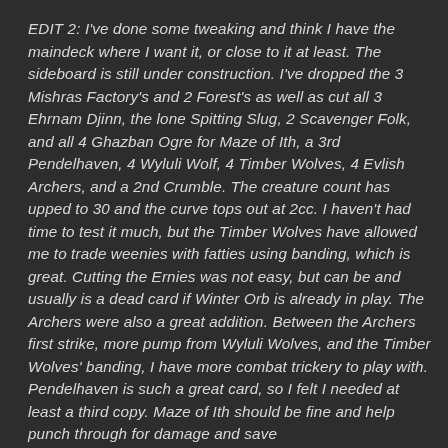EDIT 2: I've done some tweaking and think I have the maindeck where I want it, or close to it at least. The sideboard is still under construction. I've dropped the 3 Mishras Factory's and 2 Forest's as well as cut all 3 Ehrnam Djinn, the lone Spitting Slug, 2 Scavenger Folk, and all 4 Ghazban Ogre for Maze of Ith, a 3rd Pendelhaven, 4 Wyluli Wolf, 4 Timber Wolves, 4 Evlish Archers, and a 2nd Crumble. The creature count has upped to 30 and the curve tops out at 2cc. I haven't had time to test it much, but the Timber Wolves have allowed me to trade weenies with fatties using banding, which is great. Cutting the Ernies was not easy, but can be and usually is a dead card if Winter Orb is already in play. The Archers were also a great addition. Between the Archers first strike, more pump from Wyluli Wolves, and the Timber Wolves' banding, I have more combat trickery to play with. Pendelhaven is such a great card, so I felt I needed at least a third copy. Maze of Ith should be fine and help punch through for damage and save